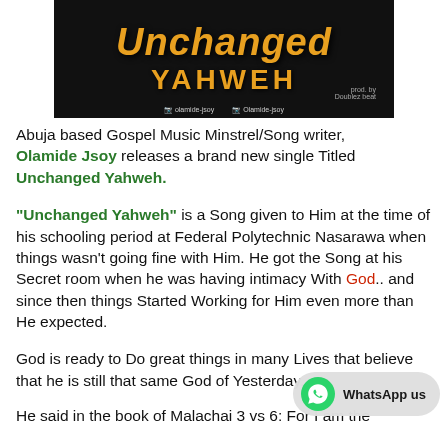[Figure (illustration): Album art for 'Unchanged Yahweh' by Olamide Jsoy, dark background with orange italic title text and 'YAHWEH' in large gold letters, produced by Doublebeat, social media handles shown at bottom]
Abuja based Gospel Music Minstrel/Song writer, Olamide Jsoy releases a brand new single Titled Unchanged Yahweh.
“Unchanged Yahweh” is a Song given to Him at the time of his schooling period at Federal Polytechnic Nasarawa when things wasn’t going fine with Him. He got the Song at his Secret room when he was having intimacy With God.. and since then things Started Working for Him even more than He expected.
God is ready to Do great things in many Lives that believe that he is still that same God of Yesterday.
He said in the book of Malachai 3 vs 6: For I am the